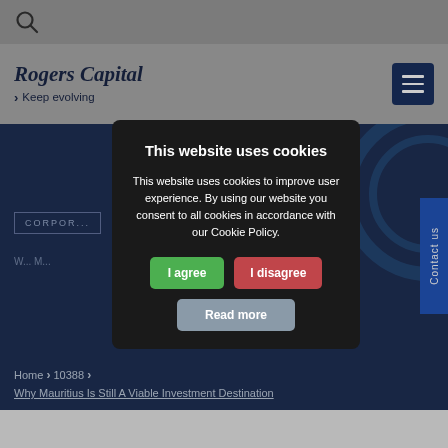Rogers Capital — Keep evolving
[Figure (screenshot): Rogers Capital website screenshot with cookie consent modal. Background shows the Rogers Capital logo and navigation header on a grey background, a dark blue hero section with 'CORPORATE' label, and a cookie consent modal dialog in the foreground.]
This website uses cookies
This website uses cookies to improve user experience. By using our website you consent to all cookies in accordance with our Cookie Policy.
I agree
I disagree
Read more
Home › 10388 ›
Why Mauritius Is Still A Viable Investment Destination